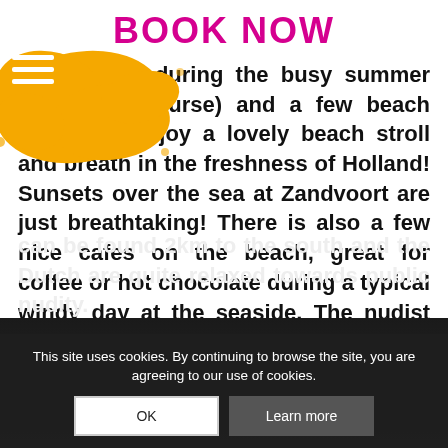BOOK NOW
feeling (not during the busy summer season of course) and a few beach pavilions. Enjoy a lovely beach stroll and breath in the freshness of Holland! Sunsets over the sea at Zandvoort are just breathtaking! There is also a few nice cafes on the beach, great for coffee or hot chocolate during a typical windy day at the seaside. The nudist beach can be found 2km to the south and the Dutch are quite relaxed towards public nudity.
This site uses cookies. By continuing to browse the site, you are agreeing to our use of cookies.
OK
Learn more